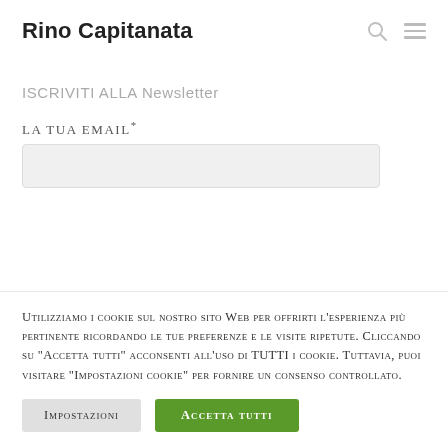Rino Capitanata
ISCRIVITI ALLA Newsletter
La tua email*
Utilizziamo i cookie sul nostro sito Web per offrirti l'esperienza più pertinente ricordando le tue preferenze e le visite ripetute. Cliccando su "Accetta tutti" acconsenti all'uso di TUTTI i cookie. Tuttavia, puoi visitare "Impostazioni cookie" per fornire un consenso controllato.
Impostazioni
Accetta tutti